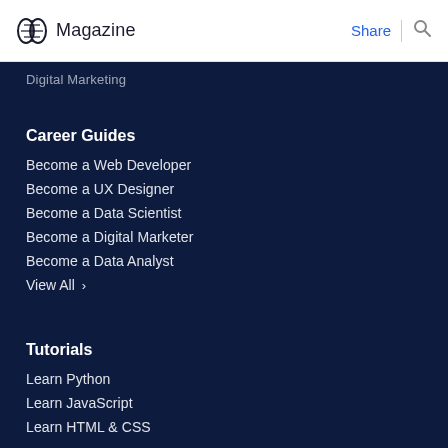Magazine | Share | Search
Digital Marketing
Career Guides
Become a Web Developer
Become a UX Designer
Become a Data Scientist
Become a Digital Marketer
Become a Data Analyst
View All >
Tutorials
Learn Python
Learn JavaScript
Learn HTML & CSS